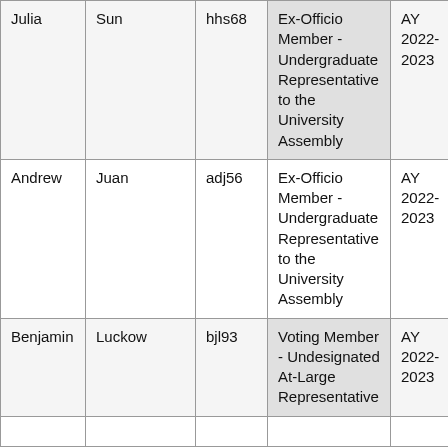| First Name | Last Name | NetID | Role | Term |
| --- | --- | --- | --- | --- |
| Julia | Sun | hhs68 | Ex-Officio Member - Undergraduate Representative to the University Assembly | AY 2022-2023 |
| Andrew | Juan | adj56 | Ex-Officio Member - Undergraduate Representative to the University Assembly | AY 2022-2023 |
| Benjamin | Luckow | bjl93 | Voting Member - Undesignated At-Large Representative | AY 2022-2023 |
|  |  |  |  |  |